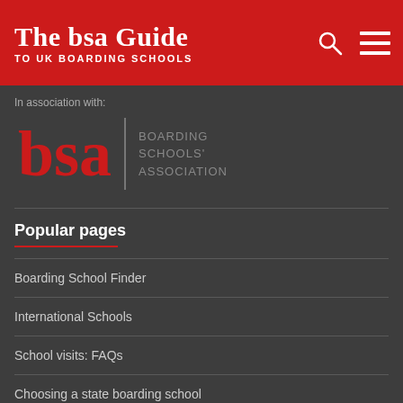The bsa Guide TO UK BOARDING SCHOOLS
In association with:
[Figure (logo): BSA - Boarding Schools' Association logo. Large red 'bsa' letters in serif font, vertical grey divider, then grey text reading BOARDING SCHOOLS' ASSOCIATION]
Popular pages
Boarding School Finder
International Schools
School visits: FAQs
Choosing a state boarding school